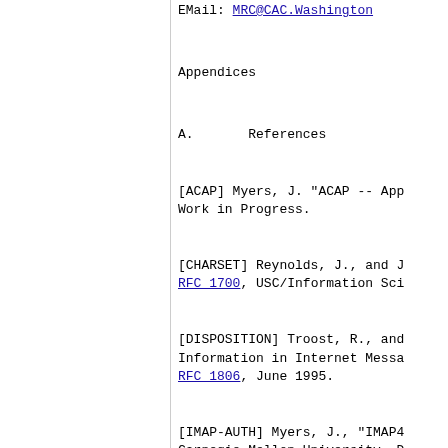EMail: MRC@CAC.Washington
Appendices
A.       References
[ACAP] Myers, J. "ACAP -- App Work in Progress.
[CHARSET] Reynolds, J., and J. RFC 1700, USC/Information Sci
[DISPOSITION] Troost, R., and Information in Internet Messa RFC 1806, June 1995.
[IMAP-AUTH] Myers, J., "IMAP4 Carnegie-Mellon University, D
[IMAP-COMPAT] Crispin, M., "I 2061, University of Washingt